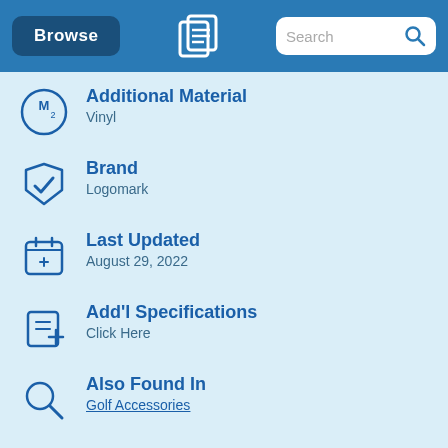Browse | Search
Additional Material
Vinyl
Brand
Logomark
Last Updated
August 29, 2022
Add'l Specifications
Click Here
Also Found In
Golf Accessories